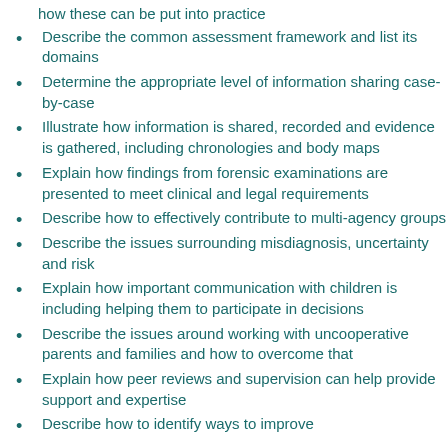how these can be put into practice
Describe the common assessment framework and list its domains
Determine the appropriate level of information sharing case-by-case
Illustrate how information is shared, recorded and evidence is gathered, including chronologies and body maps
Explain how findings from forensic examinations are presented to meet clinical and legal requirements
Describe how to effectively contribute to multi-agency groups
Describe the issues surrounding misdiagnosis, uncertainty and risk
Explain how important communication with children is including helping them to participate in decisions
Describe the issues around working with uncooperative parents and families and how to overcome that
Explain how peer reviews and supervision can help provide support and expertise
Describe how to identify ways to improve